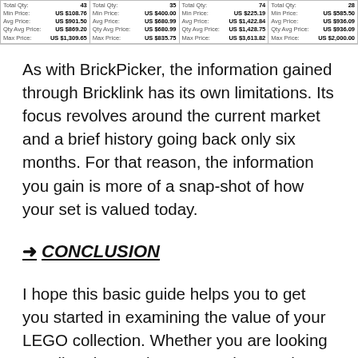| Col1 | Col2 | Col3 | Col4 |
| --- | --- | --- | --- |
| Total Qty: 43
Min Price: US $108.76
Avg Price: US $901.50
Qty Avg Price: US $869.20
Max Price: US $1,309.65 | Total Qty: 35
Min Price: US $400.00
Avg Price: US $680.99
Qty Avg Price: US $680.99
Max Price: US $835.75 | Total Qty: 74
Min Price: US $225.19
Avg Price: US $1,422.84
Qty Avg Price: US $1,428.75
Max Price: US $3,613.82 | Total Qty: 28
Min Price: US $585.50
Avg Price: US $936.09
Qty Avg Price: US $936.09
Max Price: US $2,000.00 |
As with BrickPicker, the information gained through Bricklink has its own limitations. Its focus revolves around the current market and a brief history going back only six months. For that reason, the information you gain is more of a snap-shot of how your set is valued today.
→ CONCLUSION
I hope this basic guide helps you to get you started in examining the value of your LEGO collection. Whether you are looking to sell, or just curious as to what you have, these